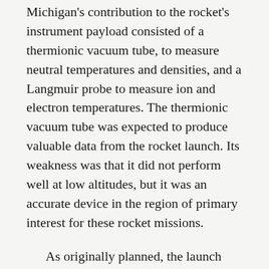Michigan's contribution to the rocket's instrument payload consisted of a thermionic vacuum tube, to measure neutral temperatures and densities, and a Langmuir probe to measure ion and electron temperatures. The thermionic vacuum tube was expected to produce valuable data from the rocket launch. Its weakness was that it did not perform well at low altitudes, but it was an accurate device in the region of primary interest for these rocket missions.
As originally planned, the launch occurred at 9 a.m. on August 22, 1946. Professor Dow recalls that the beginning of the launch of a rocket is a beautiful thing because 'it moves so slowly.' The manager of the White Sands rocket range wanted to share the beauty of the launch with the people of nearby El Paso, whom he knew to be very interested in the V2 rockets. So